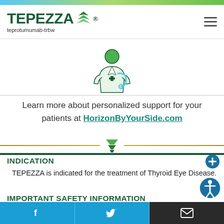[Figure (logo): TEPEZZA logo with green tree/leaf icon and teprotumumab-trbw subtitle]
[Figure (illustration): Green icon of a medical professional/doctor figure with a cross symbol on their coat]
Learn more about personalized support for your patients at HorizonByYourSide.com
[Figure (illustration): Green downward-pointing chevron/arrow icon above a horizontal gold divider line]
INDICATION
TEPEZZA is indicated for the treatment of Thyroid Eye Disease.
IMPORTANT SAFETY INFORMATION
Warnings and Precautions